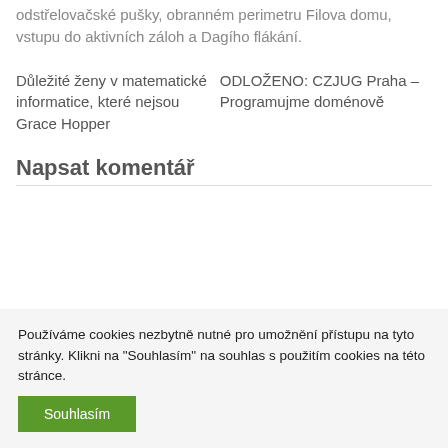odstřelovačské pušky, obranném perimetru Filova domu, vstupu do aktivních záloh a Dagího flákání.
Důležité ženy v matematické informatice, které nejsou Grace Hopper
ODLOŽENO: CZJUG Praha – Programujme doménově
Napsat komentář
Používáme cookies nezbytně nutné pro umožnění přístupu na tyto stránky. Klikni na "Souhlasím" na souhlas s použitím cookies na této stránce.
Souhlasím